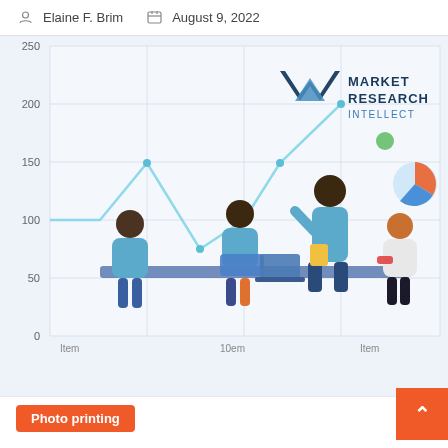Elaine F. Brim   August 9, 2022
[Figure (illustration): Market Research Intellect branded illustration showing a line chart with y-axis 0-250 and x-axis items, overlaid with an illustration of four business professionals sitting and standing around a table with laptops, along with a pie chart element and company logo.]
Photo printing